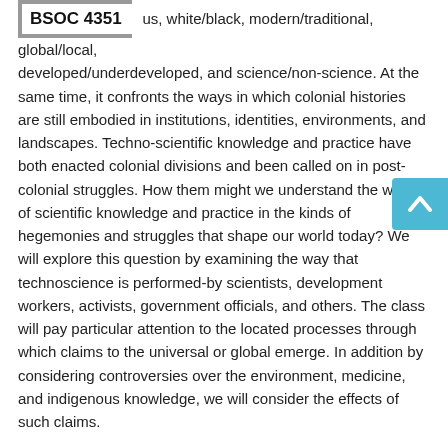BSOC 4351
us, white/black, modern/traditional, global/local, developed/underdeveloped, and science/non-science. At the same time, it confronts the ways in which colonial histories are still embodied in institutions, identities, environments, and landscapes. Techno-scientific knowledge and practice have both enacted colonial divisions and been called on in post-colonial struggles. How them might we understand the work of scientific knowledge and practice in the kinds of hegemonies and struggles that shape our world today? We will explore this question by examining the way that technoscience is performed-by scientists, development workers, activists, government officials, and others. The class will pay particular attention to the located processes through which claims to the universal or global emerge. In addition by considering controversies over the environment, medicine, and indigenous knowledge, we will consider the effects of such claims.
When Offered: Fall.
Breadth Requirement: (GB)
Distribution Category: (CA-AS)
View Enrollment Information